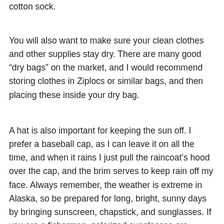cotton sock.
You will also want to make sure your clean clothes and other supplies stay dry. There are many good “dry bags” on the market, and I would recommend storing clothes in Ziplocs or similar bags, and then placing these inside your dry bag.
A hat is also important for keeping the sun off. I prefer a baseball cap, as I can leave it on all the time, and when it rains I just pull the raincoat’s hood over the cap, and the brim serves to keep rain off my face. Always remember, the weather is extreme in Alaska, so be prepared for long, bright, sunny days by bringing sunscreen, chapstick, and sunglasses. If you are a fisherman, polarized sunglasses are essential, as their glare-reducing qualities allow you to see underwater better than regular sunglasses. This is